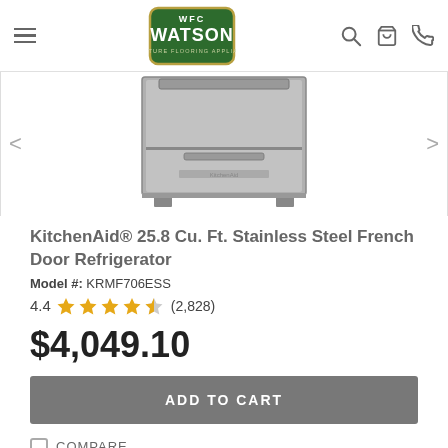WFC Watson Furniture Flooring Appliances — navigation header with hamburger menu, logo, search, cart, phone icons
[Figure (photo): KitchenAid stainless steel French door refrigerator product image, bottom section visible, silver/gray appliance on white background]
KitchenAid® 25.8 Cu. Ft. Stainless Steel French Door Refrigerator
Model #: KRMF706ESS
4.4 ★★★★☆ (2,828)
$4,049.10
ADD TO CART
COMPARE